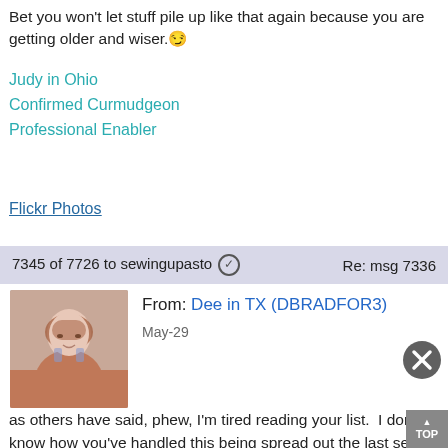Bet you won't let stuff pile up like that again because you are getting older and wiser.😏
Judy in Ohio
Confirmed Curmudgeon
Professional Enabler
Flickr Photos
7345 of 7726 to sewingupasto ✔   Re: msg 7336
[Figure (photo): Profile photo of Dee in TX, a woman with glasses and reddish-brown hair]
From: Dee in TX (DBRADFOR3)
May-29
as others have said, phew, I'm tired reading your list.  I don't know how you've handled this being spread out the last seve years.  It's definitely been interesting, I don't know that I could be as patient as you've been.  It sounds like you BIL is a serious blessing.  Didn't he used to be in California?  Or was that another one.  I've been pleased with FB marketplace too.  I was able to